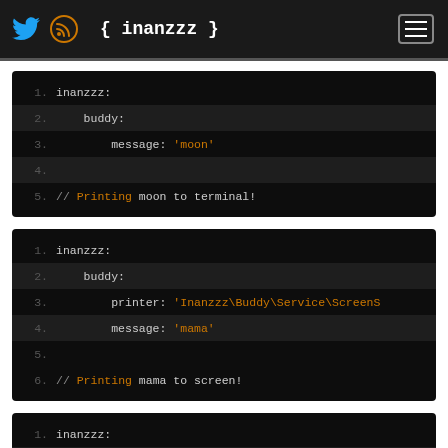{ inanzzz }
[Figure (screenshot): Code block 1: YAML config with inanzzz, buddy, message: 'moon', and comment Printing moon to terminal!]
[Figure (screenshot): Code block 2: YAML config with inanzzz, buddy, printer: 'Inanzzz\Buddy\Service\ScreenS', message: 'mama', and comment Printing mama to screen!]
[Figure (screenshot): Code block 3: YAML config with inanzzz, buddy (partial, lines 1-4 visible)]